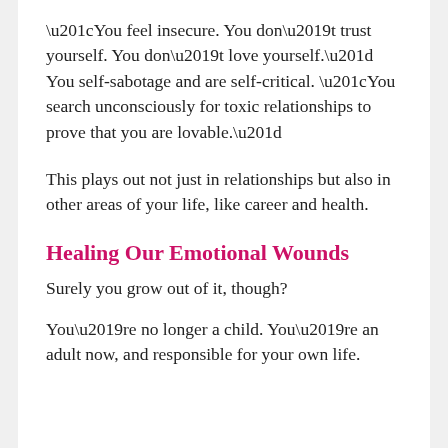“You feel insecure. You don’t trust yourself. You don’t love yourself.” You self-sabotage and are self-critical. “You search unconsciously for toxic relationships to prove that you are lovable.”
This plays out not just in relationships but also in other areas of your life, like career and health.
Healing Our Emotional Wounds
Surely you grow out of it, though?
You’re no longer a child. You’re an adult now, and responsible for your own life.